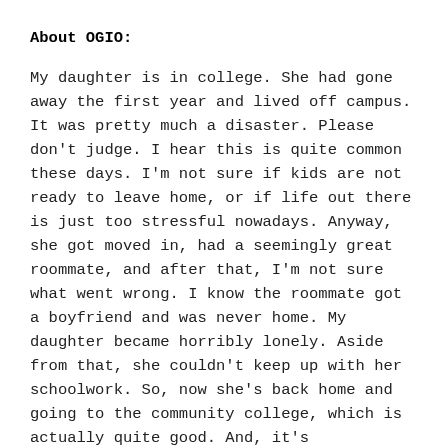About OGIO:
My daughter is in college. She had gone away the first year and lived off campus. It was pretty much a disaster. Please don't judge. I hear this is quite common these days. I'm not sure if kids are not ready to leave home, or if life out there is just too stressful nowadays. Anyway, she got moved in, had a seemingly great roommate, and after that, I'm not sure what went wrong. I know the roommate got a boyfriend and was never home. My daughter became horribly lonely. Aside from that, she couldn't keep up with her schoolwork. So, now she's back home and going to the community college, which is actually quite good. And, it's affordable. I wanted to help her get extremely organized and feel secure. We didn't need a repeat of last